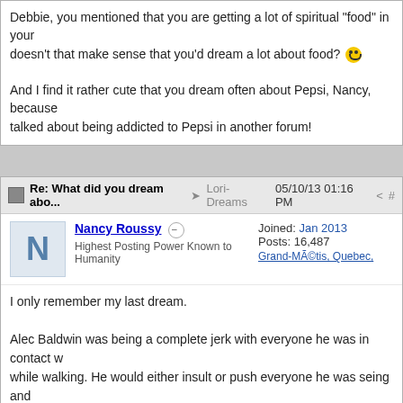Debbie, you mentioned that you are getting a lot of spiritual "food" in your... doesn't that make sense that you'd dream a lot about food? :)

And I find it rather cute that you dream often about Pepsi, Nancy, because... talked about being addicted to Pepsi in another forum!
Re: What did you dream abo... → Lori-Dreams 05/10/13 01:16 PM < #
Nancy Roussy
Highest Posting Power Known to Humanity
Joined: Jan 2013
Posts: 16,487
Grand-Métis, Quebec,
I only remember my last dream.

Alec Baldwin was being a complete jerk with everyone he was in contact w... while walking. He would either insult or push everyone he was seing and coming close with. He punched Will Ferrell in the nuts then he ended up ne... pool where he pushed people in including a young kid, that was made eve... say that this was enough but I either woke up or don't remember the rest.